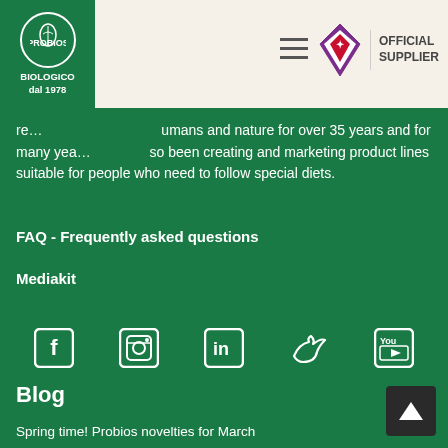Probios - BIOLOGICO dal 1978 | OFFICIAL SUPPLIER
respecting humans and nature for over 35 years and for many years has also been creating and marketing product lines suitable for people who need to follow special diets.
FAQ - Frequently asked questions
Mediakit
[Figure (other): Social media icons row: Facebook, Instagram, LinkedIn, Twitter, YouTube]
Blog
Spring time! Probios novelties for March